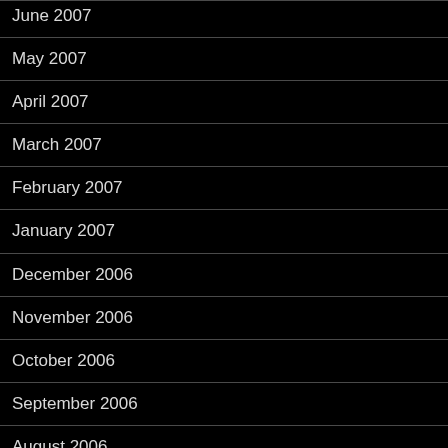June 2007
May 2007
April 2007
March 2007
February 2007
January 2007
December 2006
November 2006
October 2006
September 2006
August 2006
July 2006
June 2006